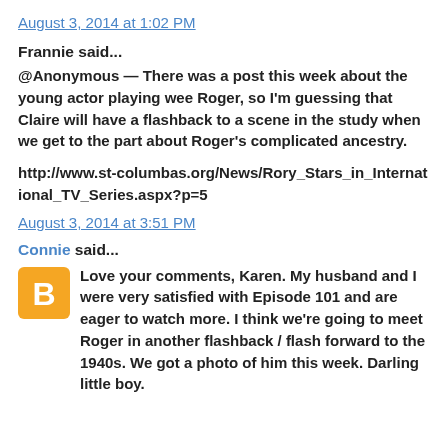August 3, 2014 at 1:02 PM
Frannie said...
@Anonymous — There was a post this week about the young actor playing wee Roger, so I'm guessing that Claire will have a flashback to a scene in the study when we get to the part about Roger's complicated ancestry.
http://www.st-columbas.org/News/Rory_Stars_in_International_TV_Series.aspx?p=5
August 3, 2014 at 3:51 PM
Connie said...
Love your comments, Karen. My husband and I were very satisfied with Episode 101 and are eager to watch more. I think we're going to meet Roger in another flashback / flash forward to the 1940s. We got a photo of him this week. Darling little boy.